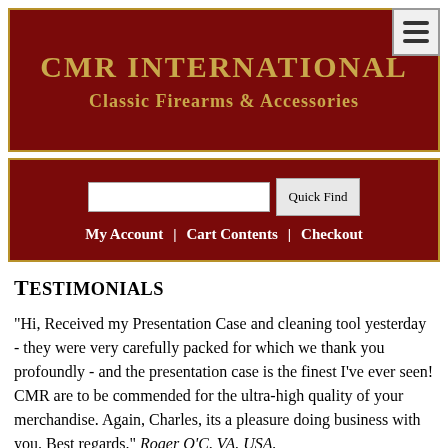[Figure (logo): CMR International Classic Firearms & Accessories logo banner on dark red background with gold text]
CMR INTERNATIONAL Classic Firearms & Accessories
My Account | Cart Contents | Checkout
Testimonials
"Hi, Received my Presentation Case and cleaning tool yesterday - they were very carefully packed for which we thank you profoundly - and the presentation case is the finest I've ever seen! CMR are to be commended for the ultra-high quality of your merchandise. Again, Charles, its a pleasure doing business with you. Best regards." Roger O'C, VA. USA.